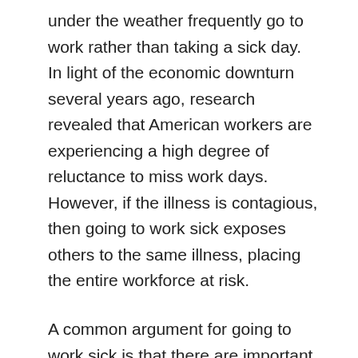under the weather frequently go to work rather than taking a sick day. In light of the economic downturn several years ago, research revealed that American workers are experiencing a high degree of reluctance to miss work days. However, if the illness is contagious, then going to work sick exposes others to the same illness, placing the entire workforce at risk.
A common argument for going to work sick is that there are important duties that cannot be dropped, and that missing work is not an option. A 2003 study published in the Journal of Occupational and Environmental Medicine found that the national economy loses an estimated $160 billion in lost productivity every year from employees who go to work sick and spread illnesses. Even with the best intentions, employees do